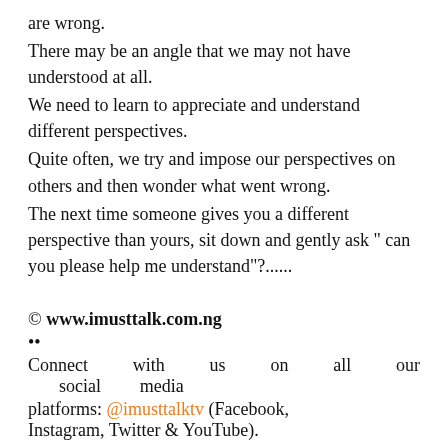are wrong.
There may be an angle that we may not have understood at all.
We need to learn to appreciate and understand different perspectives.
Quite often, we try and impose our perspectives on others and then wonder what went wrong.
The next time someone gives you a different perspective than yours, sit down and gently ask " can you please help me understand"?......
© www.imusttalk.com.ng
••
Connect with us on all our social media platforms: @imusttalktv (Facebook, Instagram, Twitter & YouTube).
•
Do you have a Business, Brand, Event or Story you want to share with the world?
Let's help you to publicising and promote your various Businesses